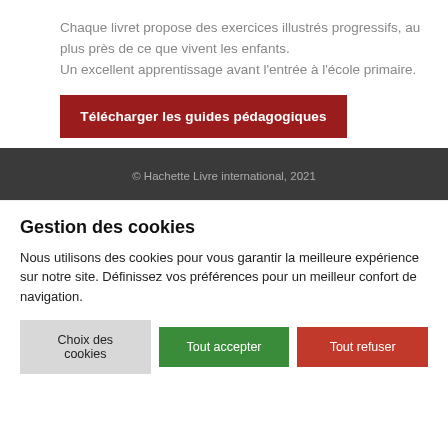Chaque livret propose des exercices illustrés progressifs, au plus près de ce que vivent les enfants.
Un excellent apprentissage avant l'entrée à l'école primaire.
Télécharger les guides pédagogiques
© Hachette Livre international, 2021
Gestion des cookies
Nous utilisons des cookies pour vous garantir la meilleure expérience sur notre site. Définissez vos préférences pour un meilleur confort de navigation.
Choix des cookies | Tout accepter | Tout refuser